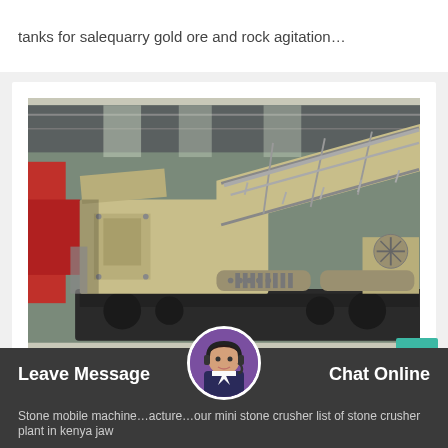tanks for salequarry gold ore and rock agitation…
[Figure (photo): Industrial mobile jaw crusher in a factory/warehouse setting. The machine is large, painted in a beige/khaki color with metal railings, conveyor-like structure angled upward, and dark base. Red equipment visible at left edge. Indoor industrial facility background.]
Kenya Stone Mobile Jaw Crusher
Leave Message
Chat Online
Stone mobile machine…actures…our…mini stone crusher list of stone crusher plant in kenya jaw